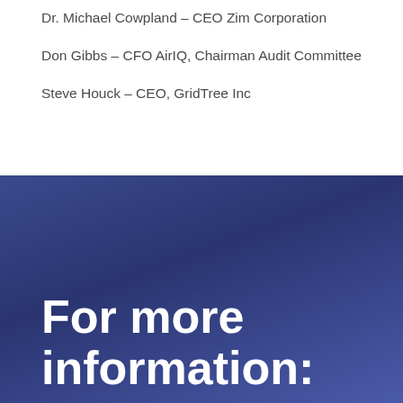Dr. Michael Cowpland – CEO Zim Corporation
Don Gibbs – CFO AirIQ, Chairman Audit Committee
Steve Houck – CEO, GridTree Inc
For more information: